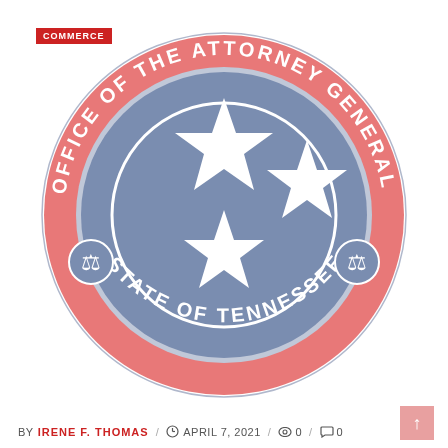COMMERCE
[Figure (logo): Circular seal of the Office of the Attorney General, State of Tennessee. Red outer ring with text 'OFFICE OF THE ATTORNEY GENERAL' on top and 'STATE OF TENNESSEE' on bottom, separated by two balance-of-justice medallions. Blue inner circle with three white five-pointed stars arranged in a tristar pattern.]
BY IRENE F. THOMAS / APRIL 7, 2021 / 0 / 0